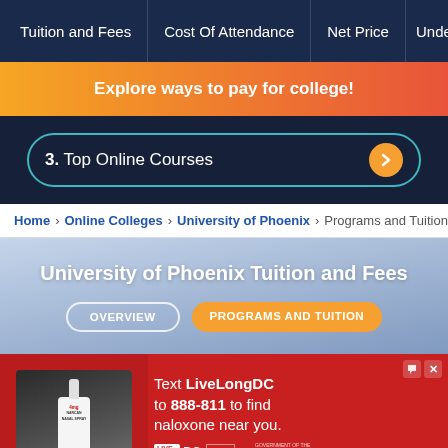Tuition and Fees | Cost Of Attendance | Net Price | Unde...
[Figure (other): Orange gradient banner promoting 'Explore ways to pay for college!']
3.  Top Online Courses
Home > Online Colleges > University of Phoenix > Programs and Tuition
University of Phoenix Tuition and Fees
[Figure (other): Two navigation buttons: OVERVIEW and PROGRAMS AND TUITION]
[Figure (other): Advertisement: Text LiveLongDC to 888-811 to find naloxone near you. Shows nasal spray product. Logos: LIVE LONG DC, DBH, Government of the District of Columbia, Muriel Bowser Mayor.]